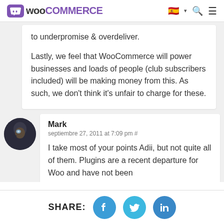WooCommerce
to underpromise & overdeliver.

Lastly, we feel that WooCommerce will power businesses and loads of people (club subscribers included) will be making money from this. As such, we don't think it's unfair to charge for these.
Mark
septiembre 27, 2011 at 7:09 pm #
I take most of your points Adii, but not quite all of them. Plugins are a recent departure for Woo and have not been
SHARE: